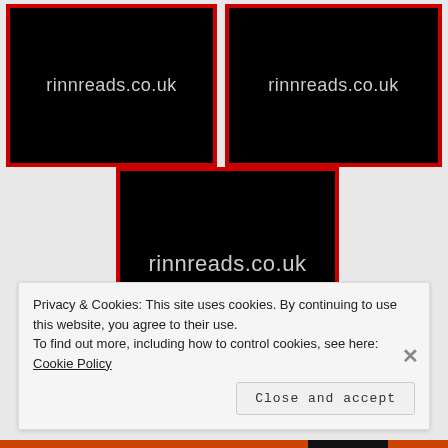[Figure (logo): Black box with red border showing rinnreads.co.uk text (top left)]
[Figure (logo): Black box with red border showing rinnreads.co.uk text (top right)]
[Figure (logo): Black box with red border showing rinnreads.co.uk text (center bottom)]
Privacy & Cookies: This site uses cookies. By continuing to use this website, you agree to their use.
To find out more, including how to control cookies, see here: Cookie Policy
Close and accept